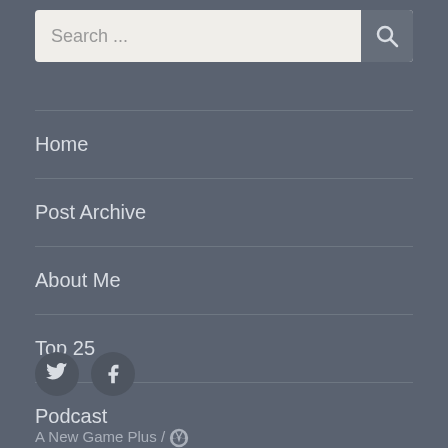Search ...
Home
Post Archive
About Me
Top 25
Podcast
[Figure (illustration): Twitter and Facebook social media icons as circular buttons]
A New Game Plus /